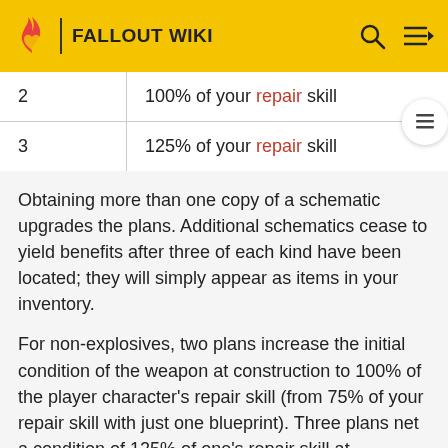FALLOUT WIKI
| 2 | 100% of your repair skill |
| 3 | 125% of your repair skill |
Obtaining more than one copy of a schematic upgrades the plans. Additional schematics cease to yield benefits after three of each kind have been located; they will simply appear as items in your inventory.
For non-explosives, two plans increase the initial condition of the weapon at construction to 100% of the player character's repair skill (from 75% of your repair skill with just one blueprint). Three plans net a condition of 125% of one's repair skill at construction; however, a weapon cannot be built with a higher starting condition